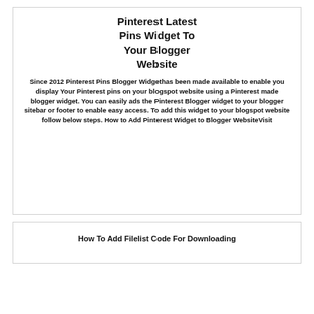Pinterest Latest Pins Widget To Your Blogger Website
Since 2012 Pinterest Pins Blogger Widgethas been made available to enable you display Your Pinterest pins on your blogspot website using a Pinterest made blogger widget. You can easily ads the Pinterest Blogger widget to your blogger sitebar or footer to enable easy access. To add this widget to your blogspot website follow below steps. How to Add Pinterest Widget to Blogger WebsiteVisit
How To Add Filelist Code For Downloading